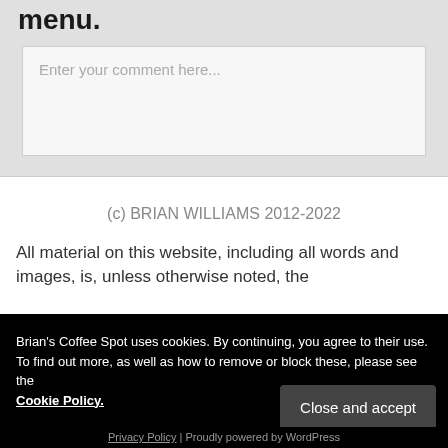menu.
[Figure (screenshot): Comment input text box with placeholder text 'Enter your comment here...']
(c) BRIAN WILLIAMS 2012-2022
All material on this website, including all words and images, is, unless otherwise noted, the
Brian's Coffee Spot uses cookies. By continuing, you agree to their use. To find out more, as well as how to remove or block these, please see the Cookie Policy.
Close and accept
Privacy Policy | Proudly powered by WordPress